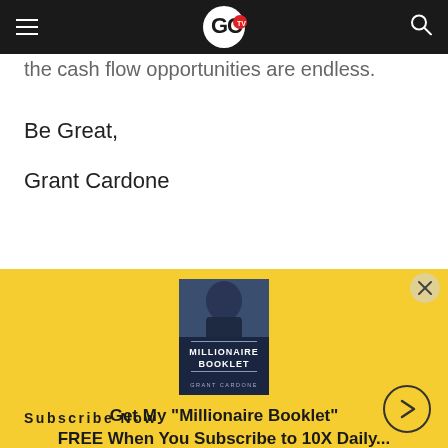GC TV
the cash flow opportunities are endless.
Be Great,
Grant Cardone
[Figure (photo): Book cover image of 'Millionaire Booklet' by Grant Cardone, showing a man in a suit on the cover with blue/dark background]
Get My "Millionaire Booklet"
FREE When You Subscribe to 10X Daily...
Subscribe Now